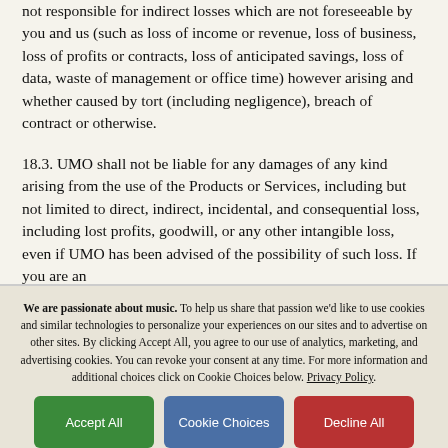not responsible for indirect losses which are not foreseeable by you and us (such as loss of income or revenue, loss of business, loss of profits or contracts, loss of anticipated savings, loss of data, waste of management or office time) however arising and whether caused by tort (including negligence), breach of contract or otherwise.
18.3. UMO shall not be liable for any damages of any kind arising from the use of the Products or Services, including but not limited to direct, indirect, incidental, and consequential loss, including lost profits, goodwill, or any other intangible loss, even if UMO has been advised of the possibility of such loss. If you are an
We are passionate about music. To help us share that passion we'd like to use cookies and similar technologies to personalize your experiences on our sites and to advertise on other sites. By clicking Accept All, you agree to our use of analytics, marketing, and advertising cookies. You can revoke your consent at any time. For more information and additional choices click on Cookie Choices below. Privacy Policy.